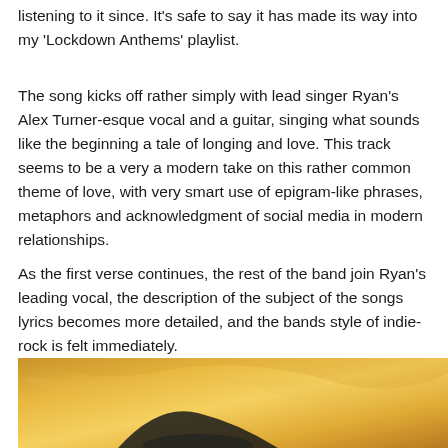listening to it since. It's safe to say it has made its way into my 'Lockdown Anthems' playlist.
The song kicks off rather simply with lead singer Ryan's Alex Turner-esque vocal and a guitar, singing what sounds like the beginning a tale of longing and love. This track seems to be a very a modern take on this rather common theme of love, with very smart use of epigram-like phrases, metaphors and acknowledgment of social media in modern relationships.
As the first verse continues, the rest of the band join Ryan's leading vocal, the description of the subject of the songs lyrics becomes more detailed, and the bands style of indie-rock is felt immediately.
[Figure (photo): Yellow/golden fabric or background with what appears to be a dark hat or figure at the bottom center]